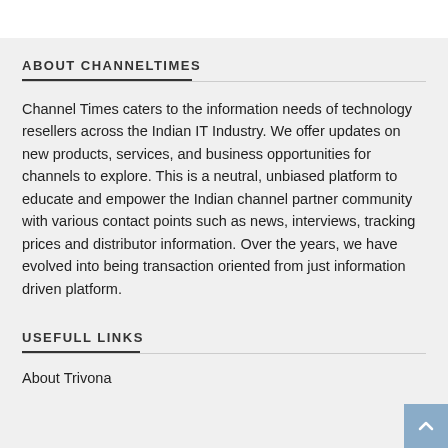ABOUT CHANNELTIMES
Channel Times caters to the information needs of technology resellers across the Indian IT Industry. We offer updates on new products, services, and business opportunities for channels to explore. This is a neutral, unbiased platform to educate and empower the Indian channel partner community with various contact points such as news, interviews, tracking prices and distributor information. Over the years, we have evolved into being transaction oriented from just information driven platform.
USEFULL LINKS
About Trivona